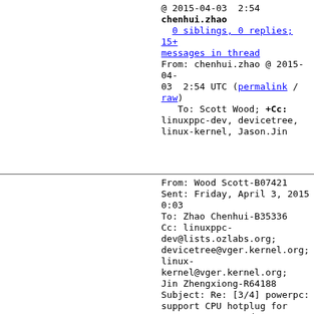@ 2015-04-03  2:54
chenhui.zhao
  0 siblings, 0 replies; 15+ messages in thread
From: chenhui.zhao @ 2015-04-03  2:54 UTC (permalink / raw)
   To: Scott Wood; +Cc: linuxppc-dev, devicetree, linux-kernel, Jason.Jin
From: Wood Scott-B07421
Sent: Friday, April 3, 2015 0:03
To: Zhao Chenhui-B35336
Cc: linuxppc-dev@lists.ozlabs.org; devicetree@vger.kernel.org; linux-kernel@vger.kernel.org; Jin Zhengxiong-R64188
Subject: Re: [3/4] powerpc: support CPU hotplug for e500mc, e5500 and e6500

On Thu, 2015-04-02 at 06:16 -0500, Zhao Chenhui-B35336 wrote: